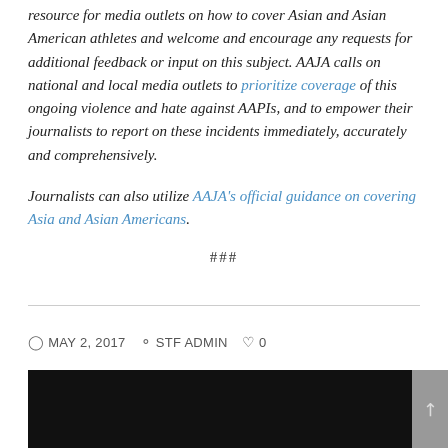resource for media outlets on how to cover Asian and Asian American athletes and welcome and encourage any requests for additional feedback or input on this subject. AAJA calls on national and local media outlets to prioritize coverage of this ongoing violence and hate against AAPIs, and to empower their journalists to report on these incidents immediately, accurately and comprehensively.
Journalists can also utilize AAJA's official guidance on covering Asia and Asian Americans.
###
MAY 2, 2017   STF ADMIN   0